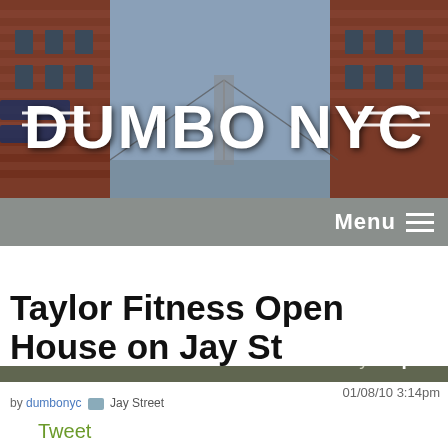[Figure (photo): Header banner photo of DUMBO NYC neighborhood with brick buildings and Manhattan Bridge, with bold white text 'DUMBO NYC' overlaid]
Menu
Browse by  Topic
Dumbo Retail And Businesses
01/08/10 3:14pm
Taylor Fitness Open House on Jay St
by dumbonyc  Jay Street
Tweet